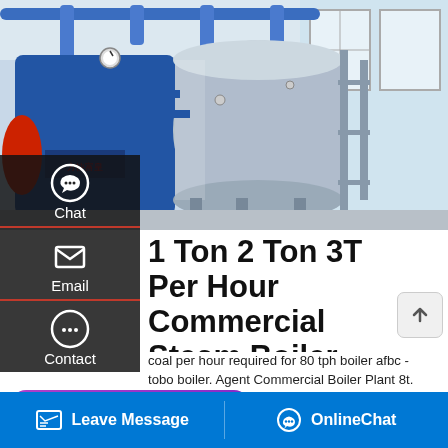[Figure (photo): Industrial steam boiler in a factory/warehouse setting. A large blue boiler unit with Chinese branding (Fangkuai) on the left, a large cylindrical silver/gray pressure vessel in the center, blue pipes and scaffolding overhead, white walls and windows on the right.]
1 Ton 2 Ton 3T Per Hour Commercial Steam Boiler Price
coal per hour required for 80 tph boiler afbc - tobo boiler. Agent Commercial Boiler Plant 8t. cheap price coal fired 8t steam boiler 6t steam boiler 4t . 10 Ton Oil Steam Boiler - cmp-h uk WNS 1t 2t ...right to 1ton steem generation in afbc
[Figure (screenshot): WhatsApp Save Stickers popup with phone and emoji icons in purple/pink gradient]
Leave Message
OnlineChat